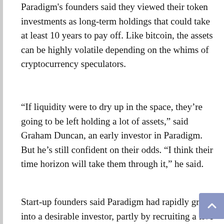Paradigm's founders said they viewed their token investments as long-term holdings that could take at least 10 years to pay off. Like bitcoin, the assets can be highly volatile depending on the whims of cryptocurrency speculators.
“If liquidity were to dry up in the space, they’re going to be left holding a lot of assets,” said Graham Duncan, an early investor in Paradigm. But he’s still confident on their odds. “I think their time horizon will take them through it,” he said.
Start-up founders said Paradigm had rapidly grown into a desirable investor, partly by recruiting a five-person research team to work with portfolio companies. Financial services